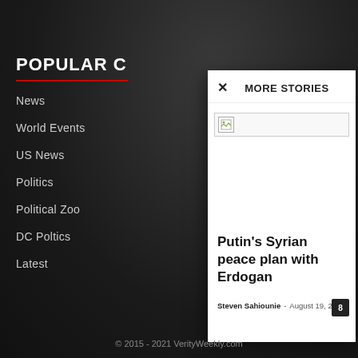POPULAR C
News
World Events
US News
Politics
Political Zoo
DC Poltics
Latest
MORE STORIES
[Figure (photo): Broken image placeholder]
Putin’s Syrian peace plan with Erdogan
Steven Sahiounie - August 19, 2022
© 2015 - 2021 VerityWeekly.com